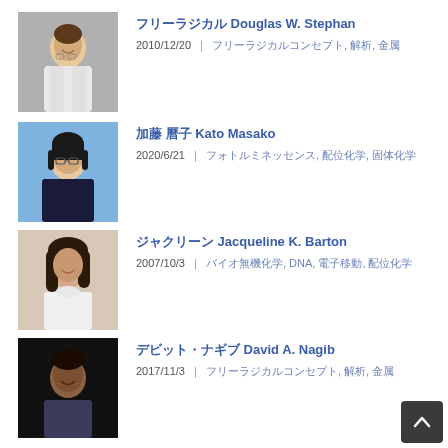[Figure (photo): Portrait photo of Douglas W. Stephan, man in white lab coat, smiling]
Douglas W. Stephan
2010/12/20 | フリーラジカル, 触媒, 有機化学
[Figure (photo): Portrait photo of Kato Masako, woman with glasses, dark hair, blue background]
加藤 昌子 Kato Masako
2020/6/21 | フォトルミネッセンス, 配位化学, 固体化学
[Figure (photo): Portrait photo of Jacqueline K. Barton, woman with dark hair]
ジャクリーン Jacqueline K. Barton
2007/10/3 | バイオ無機化学, DNA, 電子移動, 酸化還元
[Figure (photo): Portrait photo of David A. Nagib, smiling man]
デビット・ナギブ David A. Nagib
2017/11/3 | フリーラジカル, 触媒, 有機化学